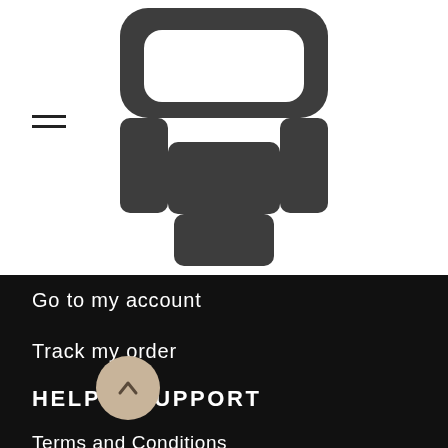[Figure (logo): Armchair/sofa logo icon in dark gray on white background, centered at top]
Go to my account
Track my order
View my wishlist
Contact Us
Language switcher
HELP & SUPPORT
Terms and Conditions
Shipping & Delivery